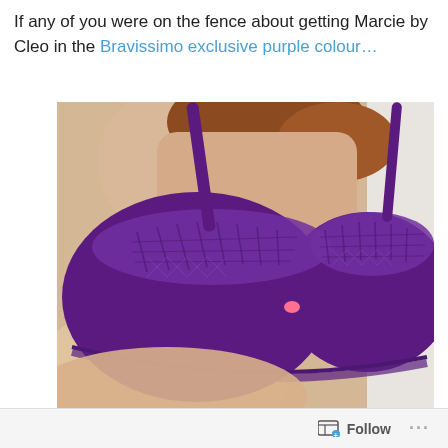If any of you were on the fence about getting Marcie by Cleo in the Bravissimo exclusive purple colour…
[Figure (photo): A model wearing a purple Marcie by Cleo bra with lace detailing at the top of the cups, shown from the torso up against a light background.]
Follow ···